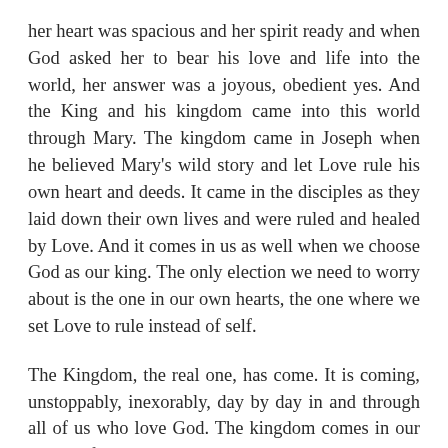her heart was spacious and her spirit ready and when God asked her to bear his love and life into the world, her answer was a joyous, obedient yes. And the King and his kingdom came into this world through Mary. The kingdom came in Joseph when he believed Mary's wild story and let Love rule his own heart and deeds. It came in the disciples as they laid down their own lives and were ruled and healed by Love. And it comes in us as well when we choose God as our king. The only election we need to worry about is the one in our own hearts, the one where we set Love to rule instead of self.
The Kingdom, the real one, has come. It is coming, unstoppably, inexorably, day by day in and through all of us who love God. The kingdom comes in our loving of neighbor and child, it comes through the